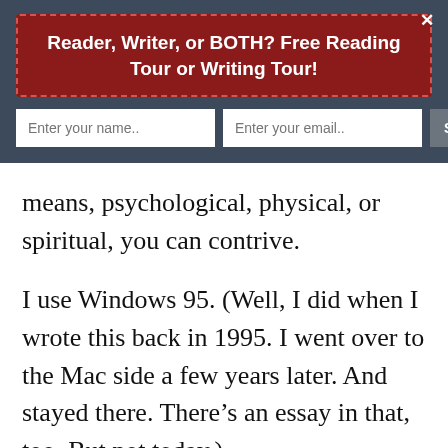Reader, Writer, or BOTH? Free Reading Tour or Writing Tour!
means, psychological, physical, or spiritual, you can contrive.
I use Windows 95. (Well, I did when I wrote this back in 1995. I went over to the Mac side a few years later. And stayed there. There’s an essay in that, too. But not today.)
to do to acquire a new Dvorak keyboard was go into Windows Control